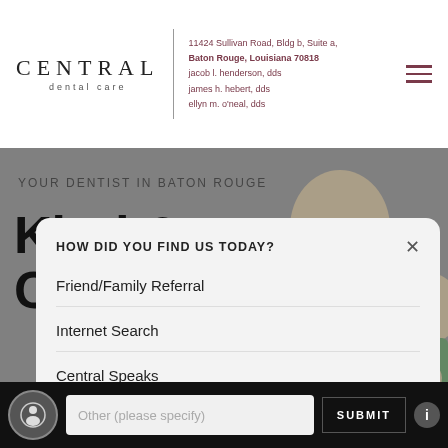[Figure (logo): Central Dental Care logo with text 'CENTRAL dental care']
11424 Sullivan Road, Bldg b, Suite a, Baton Rouge, Louisiana 70818
jacob l. henderson, dds
james h. hebert, dds
ellyn m. o'neal, dds
[Figure (photo): Hero background photo of children in a dental office, gray background]
YOUR DENTIST IN BATON ROUGE
Kind &
C…
HOW DID YOU FIND US TODAY?
Friend/Family Referral
Internet Search
Central Speaks
Other (please specify)
SUBMIT